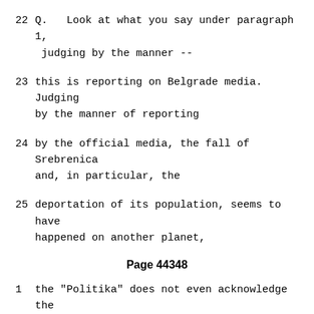22    Q.  Look at what you say under paragraph 1, judging by the manner --
23    this is reporting on Belgrade media.  Judging by the manner of reporting
24    by the official media, the fall of Srebrenica and, in particular, the
25    deportation of its population, seems to have happened on another planet,
Page 44348
1    the "Politika" does not even acknowledge the transfer of 23.000 people.
2    However, only a day before this dramatic event,